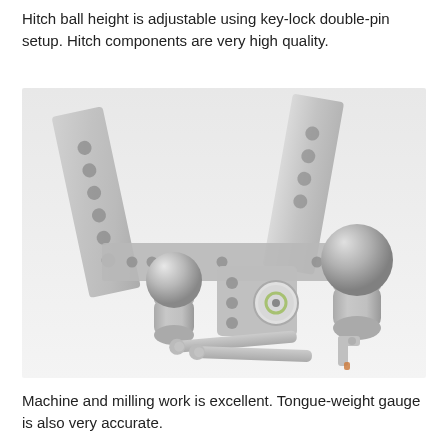Hitch ball height is adjustable using key-lock double-pin setup. Hitch components are very high quality.
[Figure (photo): Photo of aluminum adjustable hitch components including two hitch ball mounts, two hitch balls, a tongue-weight gauge box, and two locking pins with key, all in brushed aluminum/silver finish on a white background.]
Machine and milling work is excellent. Tongue-weight gauge is also very accurate.